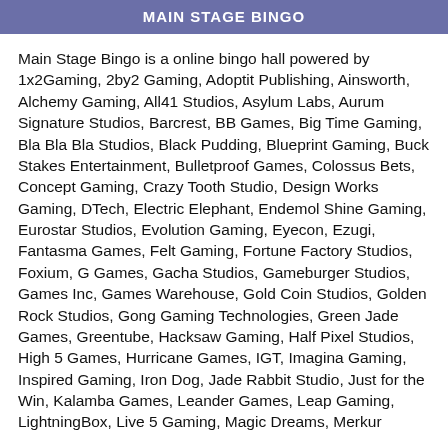MAIN STAGE BINGO
Main Stage Bingo is a online bingo hall powered by 1x2Gaming, 2by2 Gaming, Adoptit Publishing, Ainsworth, Alchemy Gaming, All41 Studios, Asylum Labs, Aurum Signature Studios, Barcrest, BB Games, Big Time Gaming, Bla Bla Bla Studios, Black Pudding, Blueprint Gaming, Buck Stakes Entertainment, Bulletproof Games, Colossus Bets, Concept Gaming, Crazy Tooth Studio, Design Works Gaming, DTech, Electric Elephant, Endemol Shine Gaming, Eurostar Studios, Evolution Gaming, Eyecon, Ezugi, Fantasma Games, Felt Gaming, Fortune Factory Studios, Foxium, G Games, Gacha Studios, Gameburger Studios, Games Inc, Games Warehouse, Gold Coin Studios, Golden Rock Studios, Gong Gaming Technologies, Green Jade Games, Greentube, Hacksaw Gaming, Half Pixel Studios, High 5 Games, Hurricane Games, IGT, Imagina Gaming, Inspired Gaming, Iron Dog, Jade Rabbit Studio, Just for the Win, Kalamba Games, Leander Games, Leap Gaming, LightningBox, Live 5 Gaming, Magic Dreams, Merkur